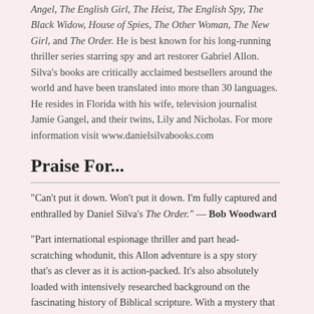Angel, The English Girl, The Heist, The English Spy, The Black Widow, House of Spies, The Other Woman, The New Girl, and The Order. He is best known for his long-running thriller series starring spy and art restorer Gabriel Allon. Silva's books are critically acclaimed bestsellers around the world and have been translated into more than 30 languages. He resides in Florida with his wife, television journalist Jamie Gangel, and their twins, Lily and Nicholas. For more information visit www.danielsilvabooks.com
Praise For...
“Can’t put it down. Won’t put it down. I’m fully captured and enthralled by Daniel Silva’s The Order.” — Bob Woodward
“Part international espionage thriller and part head-scratching whodunit, this Allon adventure is a spy story that’s as clever as it is action-packed. It’s also absolutely loaded with intensively researched background on the fascinating history of Biblical scripture. With a mystery that spans centuries and a